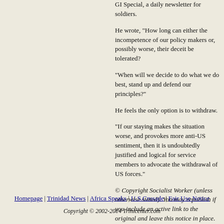GI Special, a daily newsletter for soldiers.
He wrote, "How long can either the incompetence of our policy makers or, possibly worse, their deceit be tolerated?
"When will we decide to do what we do best, stand up and defend our principles?"
He feels the only option is to withdraw.
"If our staying makes the situation worse, and provokes more anti-US sentiment, then it is undoubtedly justified and logical for service members to advocate the withdrawal of US forces."
© Copyright Socialist Worker (unless otherwise stated). You may republish if you include an active link to the original and leave this notice in place.
Reprinted from: www.socialistworker.co.uk/article.php?article_id=10114
Homepage | Trinidad News | Africa Speaks | U.S.Crusade | Fair Use Notice
Copyright © 2002-2014 Trinicenter.com